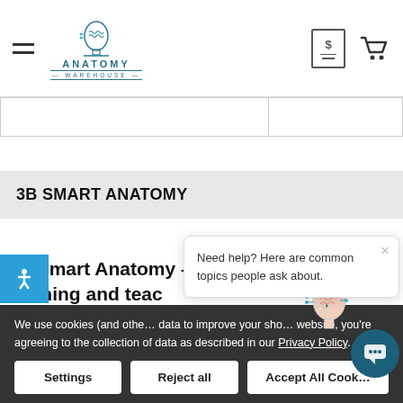Anatomy Warehouse — navigation header with logo, hamburger menu, and cart icons
|  |
3B SMART ANATOMY
3B Smart Anatomy – the new way of learning and teac…
3B Smart Anatomy… (partially visible)
We use cookies (and othe… data to improve your sho… website, you're agreeing to the collection of data as described in our Privacy Policy.
Need help? Here are common topics people ask about.